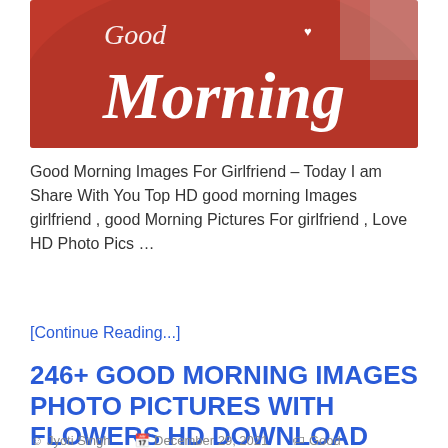[Figure (photo): Photo of a red heart-shaped object with white cursive text reading 'Morning' and script text above it, on a light background]
Good Morning Images For Girlfriend – Today I am Share With You Top HD good morning Images girlfriend , good Morning Pictures For girlfriend , Love HD Photo Pics …
[Continue Reading...]
246+ GOOD MORNING IMAGES PHOTO PICTURES WITH FLOWERS HD DOWNLOAD
Jyoti Singh   December 29, 2021   Good Morning